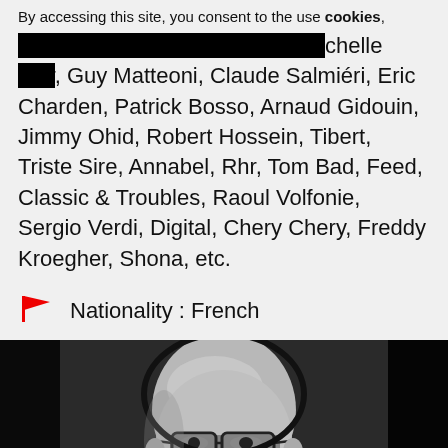By accessing this site, you consent to the use cookies,
Bachelet, Gerard Lenorman, Michelle Torr, Guy Matteoni, Claude Salmiéri, Eric Charden, Patrick Bosso, Arnaud Gidouin, Jimmy Ohid, Robert Hossein, Tibert, Triste Sire, Annabel, Rhr, Tom Bad, Feed, Classic & Troubles, Raoul Volfonie, Sergio Verdi, Digital, Chery Chery, Freddy Kroegher, Shona, etc.
Nationality : French
[Figure (photo): Black and white portrait photo of a bald man with glasses, smiling slightly]